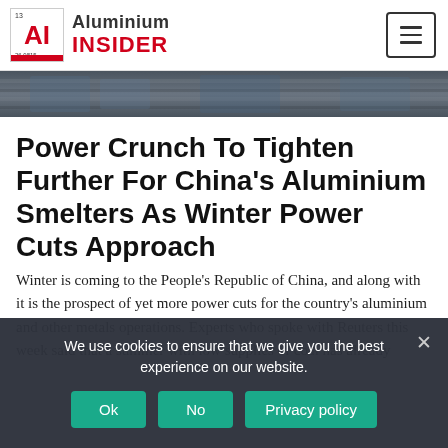Aluminium Insider
[Figure (photo): Aerial photograph of an industrial facility, likely an aluminium smelter or mining operation, viewed from above with muted grey-blue tones.]
Power Crunch To Tighten Further For China's Aluminium Smelters As Winter Power Cuts Approach
Winter is coming to the People's Republic of China, and along with it is the prospect of yet more power cuts for the country's aluminium and other metals operations. Experts who spoke with Reuters this week said that a summer with low supplies of coal has already
We use cookies to ensure that we give you the best experience on our website.